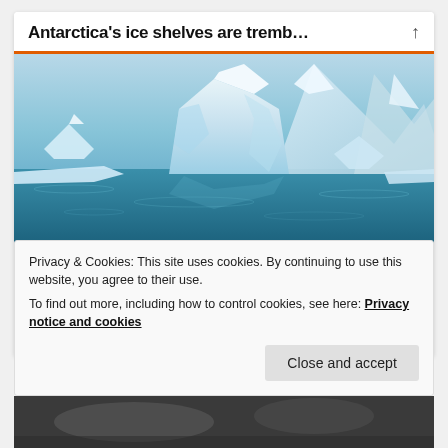Antarctica's ice shelves are tremb...
[Figure (photo): Antarctic iceberg floating on blue water with snow-capped mountains in the background]
Warmer summers threaten Antarctica's giant ice shelves because of the lakes they create
April 27, 2022
In "Green Futures"
Privacy & Cookies: This site uses cookies. By continuing to use this website, you agree to their use.
To find out more, including how to control cookies, see here: Privacy notice and cookies
[Figure (photo): Dark aerial or satellite image at bottom of page]